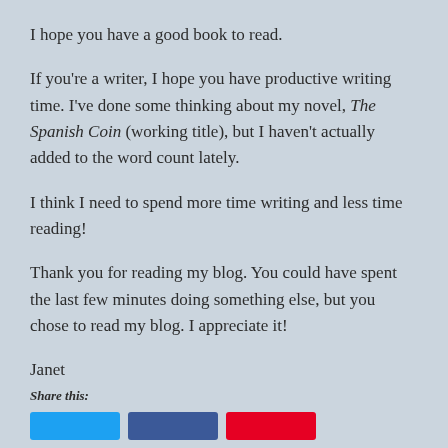I hope you have a good book to read.
If you're a writer, I hope you have productive writing time. I've done some thinking about my novel, The Spanish Coin (working title), but I haven't actually added to the word count lately.
I think I need to spend more time writing and less time reading!
Thank you for reading my blog. You could have spent the last few minutes doing something else, but you chose to read my blog. I appreciate it!
Janet
Share this: